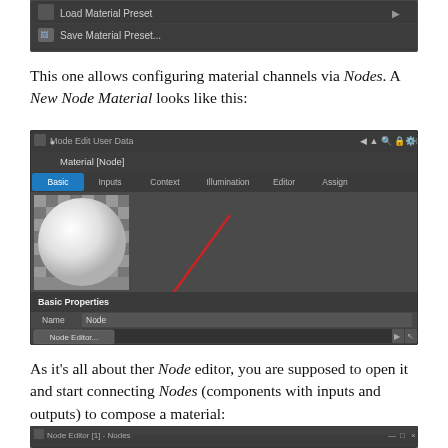[Figure (screenshot): Top partial screenshot showing a dark UI menu with 'Load Material Preset' and 'Save Material Preset...' options]
This one allows configuring material channels via Nodes. A New Node Material looks like this:
[Figure (screenshot): Screenshot of Cinema 4D Material [Node] editor with Basic, Inputs, Context, Illumination, Editor, Assign tabs. Shows a white sphere preview, Basic Properties section with Name: Node and Layer fields, and a Node Editor button. A red arrow points to the Node Editor button.]
As it's all about ther Node editor, you are supposed to open it and start connecting Nodes (components with inputs and outputs) to compose a material:
[Figure (screenshot): Partial screenshot of Node Editor window at the bottom of the page]